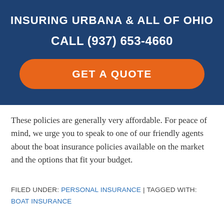INSURING URBANA & ALL OF OHIO
CALL (937) 653-4660
[Figure (other): Orange rounded-rectangle button with text GET A QUOTE]
These policies are generally very affordable. For peace of mind, we urge you to speak to one of our friendly agents about the boat insurance policies available on the market and the options that fit your budget.
FILED UNDER: PERSONAL INSURANCE | TAGGED WITH: BOAT INSURANCE